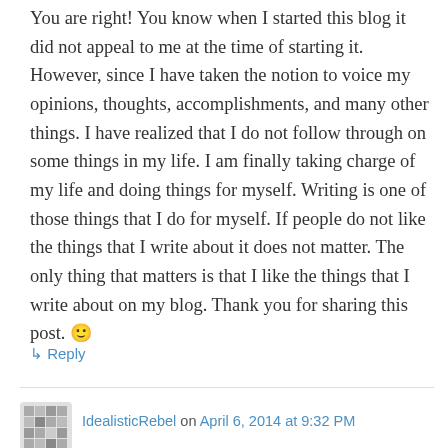You are right! You know when I started this blog it did not appeal to me at the time of starting it. However, since I have taken the notion to voice my opinions, thoughts, accomplishments, and many other things. I have realized that I do not follow through on some things in my life. I am finally taking charge of my life and doing things for myself. Writing is one of those things that I do for myself. If people do not like the things that I write about it does not matter. The only thing that matters is that I like the things that I write about on my blog. Thank you for sharing this post. 🙂
↳ Reply
IdealisticRebel on April 6, 2014 at 9:32 PM